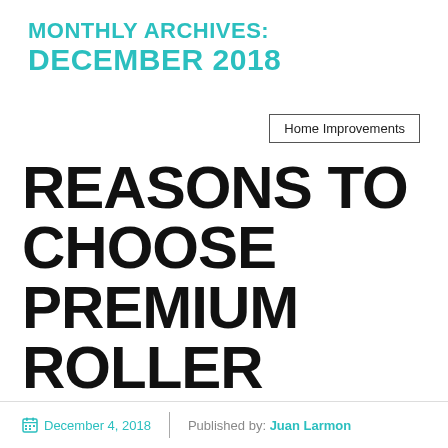MONTHLY ARCHIVES: DECEMBER 2018
Home Improvements
REASONS TO CHOOSE PREMIUM ROLLER SHUTTERS
December 4, 2018 | Published by: Juan Larmon